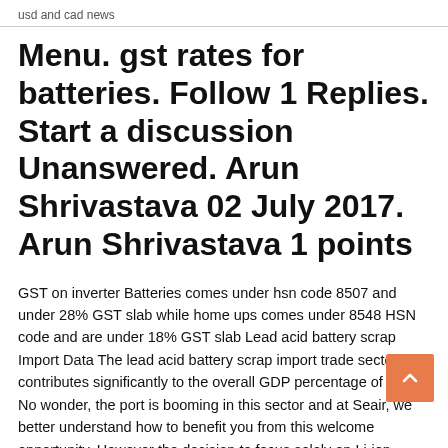usd and cad news
Menu. gst rates for batteries. Follow 1 Replies. Start a discussion Unanswered. Arun Shrivastava 02 July 2017. Arun Shrivastava 1 points
GST on inverter Batteries comes under hsn code 8507 and under 28% GST slab while home ups comes under 8548 HSN code and are under 18% GST slab Lead acid battery scrap Import Data The lead acid battery scrap import trade sector contributes significantly to the overall GDP percentage of India. No wonder, the port is booming in this sector and at Seair, we better understand how to benefit you from this welcome opportunity. However the decision to focus solely on Li-ion batteries may come as a blow to Hitachi owned battery